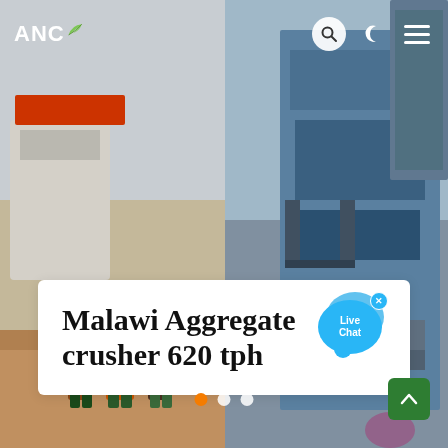ANC
[Figure (photo): Website screenshot showing a page titled 'Malawi Aggregate crusher 620 tph' with a hero image split into two photos: left side shows workers standing in front of industrial crusher equipment on a sandy/dirt ground, right side shows blue industrial processing/screening machinery. A white ANC logo with leaf icon is in the top-left. Navigation icons (search, dark mode, hamburger menu) are in the top-right. A white card overlays the center with the page title in bold serif font. A blue Live Chat speech bubble widget is in the upper-right of the card with an X close button. Slider dots (orange active, two white) appear at the bottom center. A green scroll-to-top arrow button is in the bottom-right corner.]
Malawi Aggregate crusher 620 tph